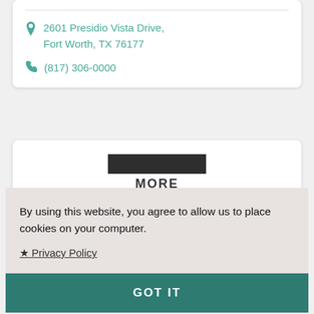2601 Presidio Vista Drive, Fort Worth, TX 76177
(817) 306-0000
[Figure (screenshot): Partial screenshot of a website section showing a dark bar and 'MORE' text, partially obscured by cookie consent overlay]
By using this website, you agree to allow us to place cookies on your computer.
★ Privacy Policy
GOT IT
Arlington, Plano and Irving.